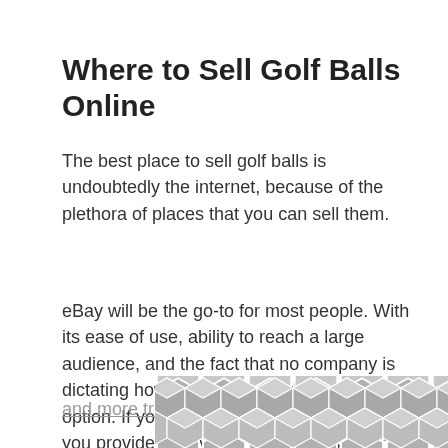Where to Sell Golf Balls Online
The best place to sell golf balls is undoubtedly the internet, because of the plethora of places that you can sell them.
eBay will be the go-to for most people. With its ease of use, ability to reach a large audience, and the fact that no company is dictating how you sell them, this is a great option. If you sell on eBay, make sure that you provide plenty of images and state the condition of the balls clearly. This could result in a faster sale because you are transparent and more trustworthy to buyers.
[Figure (illustration): Geometric hexagonal pattern in grey tones at the bottom right of the page]